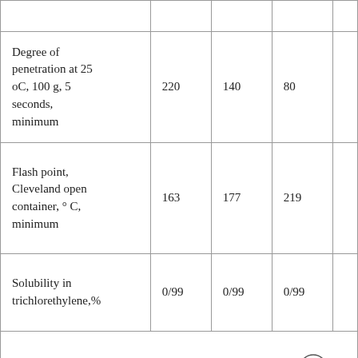| Property | Col1 | Col2 | Col3 | Col4 |
| --- | --- | --- | --- | --- |
| Degree of penetration at 25 oC, 100 g, 5 seconds, minimum | 220 | 140 | 80 |  |
| Flash point, Cleveland open container, ° C, minimum | 163 | 177 | 219 |  |
| Solubility in trichlorethylene,% | 0/99 | 0/99 | 0/99 |  |
| Test on the remaining bitumen thin layer in the test. |  |  |  |  |